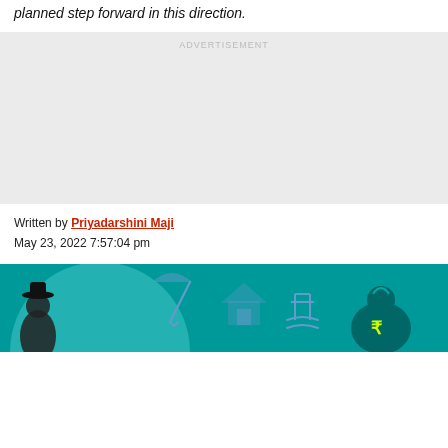planned step forward in this direction.
[Figure (other): Advertisement placeholder block with grey background and 'ADVERTISEMENT' label]
Written by Priyadarshini Maji
May 23, 2022 7:57:04 pm
[Figure (illustration): Illustration of a man in a hat with retirement icons on teal background: beach umbrella, house, rocking chair, money bag with rupee symbol]